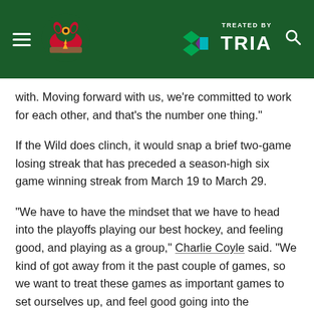Minnesota Wild — Treated by TRIA
with. Moving forward with us, we're committed to work for each other, and that's the number one thing."
If the Wild does clinch, it would snap a brief two-game losing streak that has preceded a season-high six game winning streak from March 19 to March 29.
"We have to have the mindset that we have to head into the playoffs playing our best hockey, and feeling good, and playing as a group," Charlie Coyle said. "We kind of got away from it the past couple of games, so we want to treat these games as important games to set ourselves up, and feel good going into the playoffs."